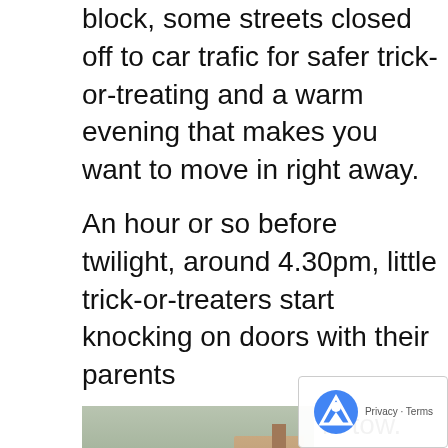block, some streets closed off to car trafic for safer trick-or-treating and a warm evening that makes you want to move in right away.
An hour or so before twilight, around 4.30pm, little trick-or-treaters start knocking on doors with their parents in tow. Fairy flowers and plush animals were the first ones to come to my friend
[Figure (photo): Three children in Halloween costumes standing in front of a house with trees and hedges. One child is dressed as a penguin, one as a character with a yellow hat, and one in a pink dress-like costume holding a plush animal.]